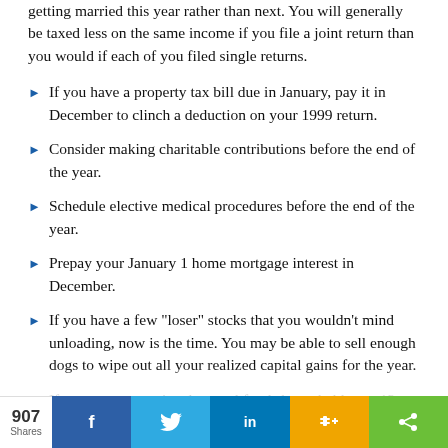getting married this year rather than next. You will generally be taxed less on the same income if you file a joint return than you would if each of you filed single returns.
If you have a property tax bill due in January, pay it in December to clinch a deduction on your 1999 return.
Consider making charitable contributions before the end of the year.
Schedule elective medical procedures before the end of the year.
Prepay your January 1 home mortgage interest in December.
If you have a few "loser" stocks that you wouldn't mind unloading, now is the time. You may be able to sell enough dogs to wipe out all your realized capital gains for the year.
If you own appreciated mutual fund shares held over 12